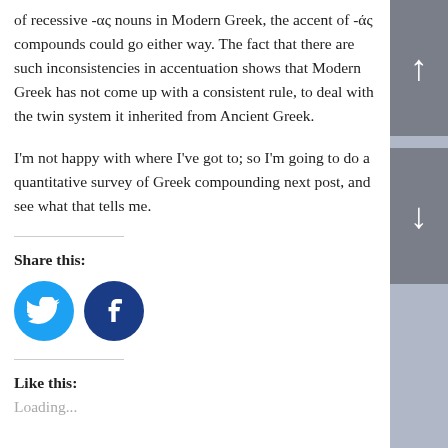of recessive -ας nouns in Modern Greek, the accent of -άς compounds could go either way. The fact that there are such inconsistencies in accentuation shows that Modern Greek has not come up with a consistent rule, to deal with the twin system it inherited from Ancient Greek.
I'm not happy with where I've got to; so I'm going to do a quantitative survey of Greek compounding next post, and see what that tells me.
Share this:
[Figure (other): Twitter and Facebook social sharing icons]
Like this:
Loading...
Related
A ccent in Modern
How Greek accentuation